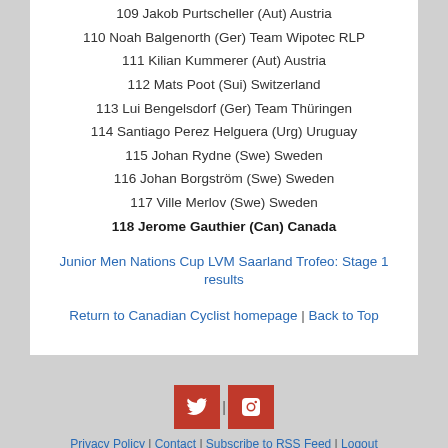109 Jakob Purtscheller (Aut) Austria
110 Noah Balgenorth (Ger) Team Wipotec RLP
111 Kilian Kummerer (Aut) Austria
112 Mats Poot (Sui) Switzerland
113 Lui Bengelsdorf (Ger) Team Thüringen
114 Santiago Perez Helguera (Urg) Uruguay
115 Johan Rydne (Swe) Sweden
116 Johan Borgström (Swe) Sweden
117 Ville Merlov (Swe) Sweden
118 Jerome Gauthier (Can) Canada
Junior Men Nations Cup LVM Saarland Trofeo: Stage 1 results
Return to Canadian Cyclist homepage | Back to Top
Privacy Policy | Contact | Subscribe to RSS Feed | Logout
© Copyright 1998-2022 Canadian Cyclist. All rights reserved.